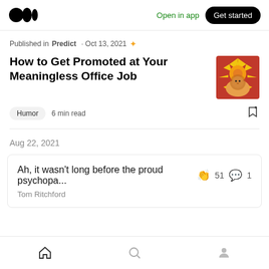Medium app header — Open in app | Get started
Published in Predict · Oct 13, 2021 ✦
How to Get Promoted at Your Meaningless Office Job
[Figure (illustration): Thumbnail image showing a stylized lion or animal figure with a red and yellow sun/rays background, pixel-art style]
Humor   6 min read
Aug 22, 2021
Ah, it wasn't long before the proud psychopa...  👏 51  💬 1
Tom Ritchford
Bottom navigation: Home | Search | Profile